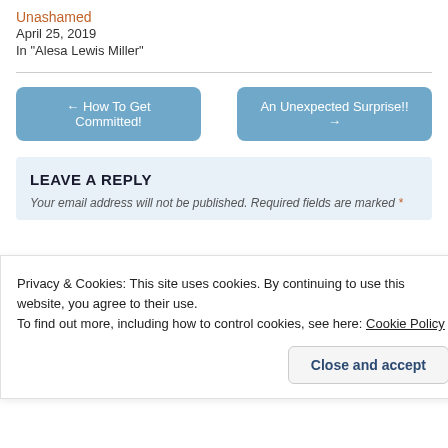Unashamed
April 25, 2019
In "Alesa Lewis Miller"
← How To Get Committed!
An Unexpected Surprise!! →
LEAVE A REPLY
Your email address will not be published. Required fields are marked *
Privacy & Cookies: This site uses cookies. By continuing to use this website, you agree to their use.
To find out more, including how to control cookies, see here: Cookie Policy
Close and accept